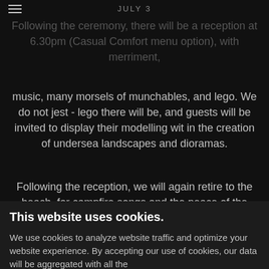JULY 3
Following the ceremony, there will be a reception at 6.30pm (Casual Comfort menu option), with merriment, music, many morsels of munchables, and lego. We do not jest - lego there will be, and guests will be invited to display their modelling wit in the creation of undersea landscapes and dioramas.
Following the reception, we will again retire to the beach, for campfire songs and the peace of the waves...
AFTERGLOW
This website uses cookies.
We use cookies to analyze website traffic and optimize your website experience. By accepting our use of cookies, our data will be aggregated with all the